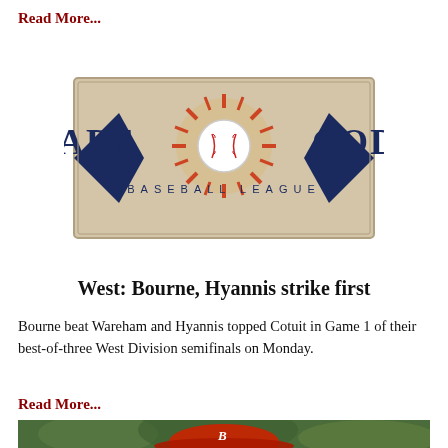Read More...
[Figure (logo): Cape Cod Baseball League logo with navy diamond shapes, sunburst, and baseball in center]
West: Bourne, Hyannis strike first
Bourne beat Wareham and Hyannis topped Cotuit in Game 1 of their best-of-three West Division semifinals on Monday.
Read More...
[Figure (photo): Photo of a baseball player wearing a red cap with a B logo, with a blurred green background]